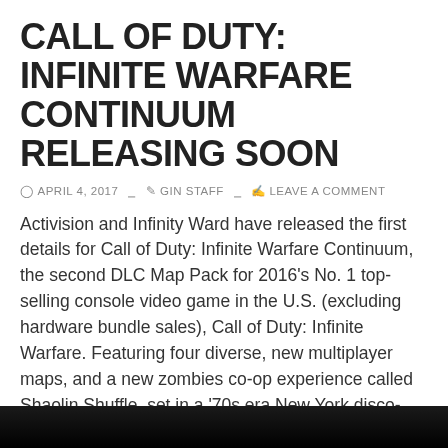CALL OF DUTY: INFINITE WARFARE CONTINUUM RELEASING SOON
APRIL 4, 2017   GIN STAFF   LEAVE A COMMENT
Activision and Infinity Ward have released the first details for Call of Duty: Infinite Warfare Continuum, the second DLC Map Pack for 2016's No. 1 top-selling console video game in the U.S. (excluding hardware bundle sales), Call of Duty: Infinite Warfare. Featuring four diverse, new multiplayer maps, and a new zombies co-op experience called Shaolin Shuffle, set in a '70s era New York disco-zombie fright fest, Continuum is scheduled for release April 18, first on the PlayStation Network for the PlayStation 4 computer entertainment system, with other platforms to follow.
[Figure (photo): Dark/black image bar at the bottom of the page, appears to be a screenshot or photo related to Call of Duty: Infinite Warfare]